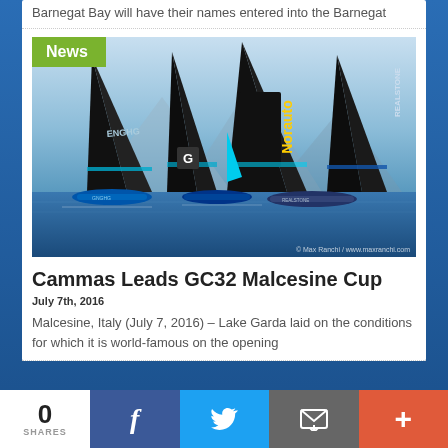Barnegat Bay will have their names entered into the Barnegat
[Figure (photo): Racing catamarans with tall black sails (including Norauto and Realstone branded sails) racing on blue water, with mountains in background. News badge overlay in green.]
Cammas Leads GC32 Malcesine Cup
July 7th, 2016

Malcesine, Italy (July 7, 2016) – Lake Garda laid on the conditions for which it is world-famous on the opening
0 SHARES
f (Facebook share button)
Twitter share button
Email share button
+ (More share options button)